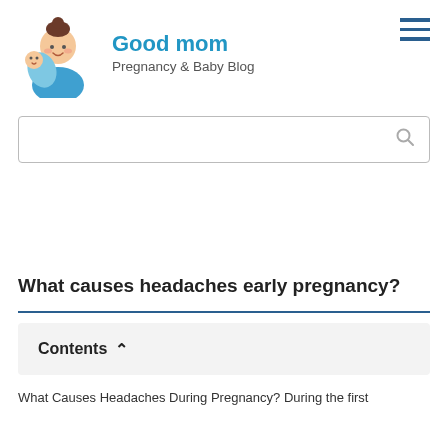[Figure (logo): Good mom blog logo — illustration of a woman with brown hair in a bun holding a baby wrapped in a blue blanket]
Good mom
Pregnancy & Baby Blog
[Figure (illustration): Hamburger menu icon — three horizontal dark blue lines]
[Figure (illustration): Search bar with magnifying glass icon]
What causes headaches early pregnancy?
Contents ^
What Causes Headaches During Pregnancy? During the first